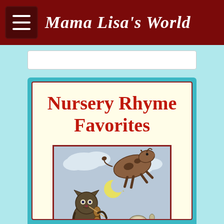Mama Lisa's World
Nursery Rhyme Favorites
[Figure (illustration): Vintage illustration showing a cat playing a fiddle, a cow jumping over a crescent moon, a dish running away with a spoon — scenes from 'Hey Diddle Diddle' nursery rhyme, in an antique colored engraving style]